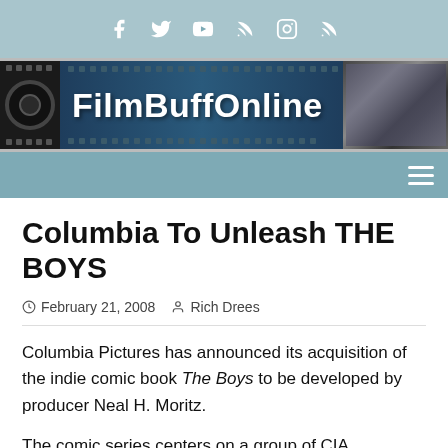FilmBuffOnline - social bar and logo banner
Columbia To Unleash THE BOYS
February 21, 2008  Rich Drees
Columbia Pictures has announced its acquisition of the indie comic book The Boys to be developed by producer Neal H. Moritz.
The comic series centers on a group of CIA operatives who are tasked with policing the world's superheroes. The superpowered heroes of the world aren't always as noble and heroic as their public images would lead people to believe, so